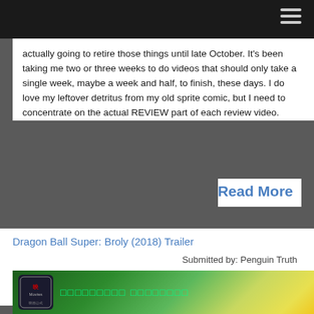actually going to retire those things until late October. It's been taking me two or three weeks to do videos that should only take a single week, maybe a week and half, to finish, these days. I do love my leftover detritus from my old sprite comic, but I need to concentrate on the actual REVIEW part of each review video.
Read More
Dragon Ball Super: Broly (2018) Trailer
Submitted by: Penguin Truth on Thu, 07/19/2018 - 18:52
JP:
[Figure (screenshot): Video thumbnail showing Japanese text in green on a dark green background with a movie logo icon on the left.]